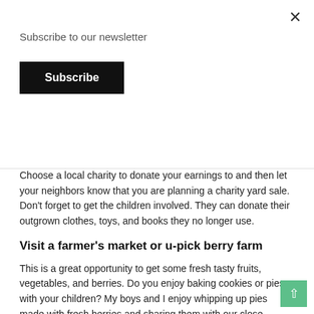Subscribe to our newsletter
Subscribe
Host a yard sale
Choose a local charity to donate your earnings to and then let your neighbors know that you are planning a charity yard sale. Don't forget to get the children involved. They can donate their outgrown clothes, toys, and books they no longer use.
Visit a farmer's market or u-pick berry farm
This is a great opportunity to get some fresh tasty fruits, vegetables, and berries. Do you enjoy baking cookies or pies with your children? My boys and I enjoy whipping up pies made with fresh berries and sharing them with our close neighbors. If you are like me and don't like to spend much time baking in a hot kitchen there are many no bake